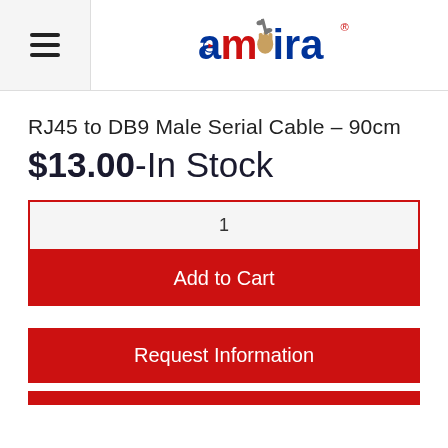[Figure (logo): Amaira logo - red and blue stylized text with a hand holding a wrench icon and a registered trademark symbol]
RJ45 to DB9 Male Serial Cable – 90cm
$13.00-In Stock
1
Add to Cart
Request Information